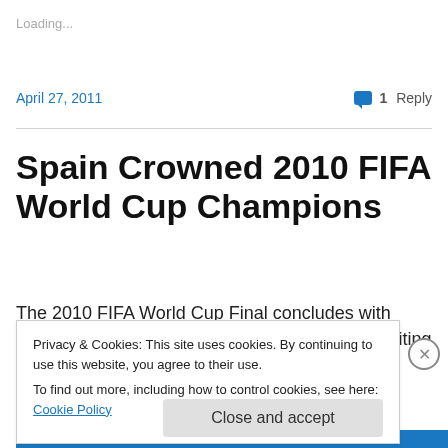Loading...
April 27, 2011
1 Reply
Spain Crowned 2010 FIFA World Cup Champions
The 2010 FIFA World Cup Final concludes with Spain as champions. Well done Espana! The writing was on the
Privacy & Cookies: This site uses cookies. By continuing to use this website, you agree to their use.
To find out more, including how to control cookies, see here: Cookie Policy
Close and accept